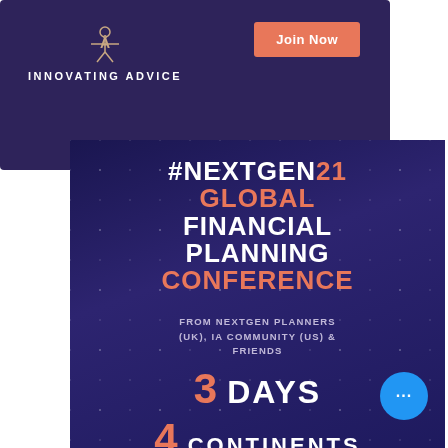[Figure (logo): Innovating Advice logo with person icon above text on purple background]
Join Now
#NEXTGEN21 GLOBAL FINANCIAL PLANNING CONFERENCE
FROM NEXTGEN PLANNERS (UK), IA COMMUNITY (US) & FRIENDS
3 DAYS
4 CONTINENTS